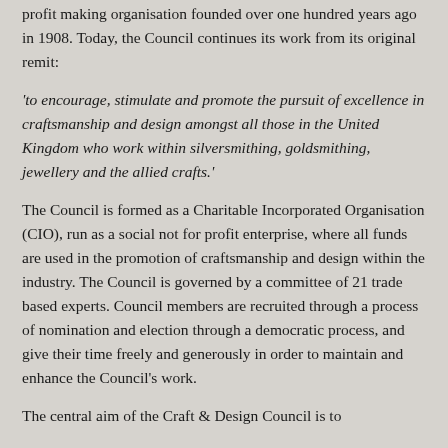profit making organisation founded over one hundred years ago in 1908. Today, the Council continues its work from its original remit:
'to encourage, stimulate and promote the pursuit of excellence in craftsmanship and design amongst all those in the United Kingdom who work within silversmithing, goldsmithing, jewellery and the allied crafts.'
The Council is formed as a Charitable Incorporated Organisation (CIO), run as a social not for profit enterprise, where all funds are used in the promotion of craftsmanship and design within the industry. The Council is governed by a committee of 21 trade based experts. Council members are recruited through a process of nomination and election through a democratic process, and give their time freely and generously in order to maintain and enhance the Council's work.
The central aim of the Craft & Design Council is to